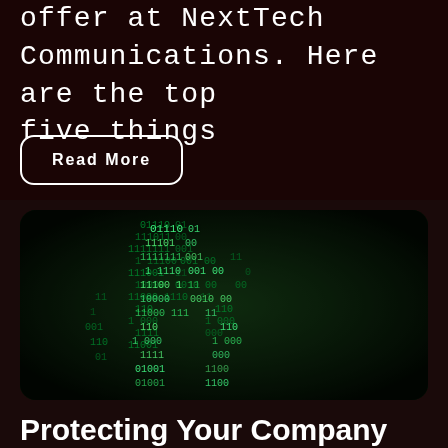offer at NextTech Communications. Here are the top five things
Read More
[Figure (photo): A dark image of a person or figure covered in glowing green binary code (matrix-style 0s and 1s), representing cybersecurity or hacking themes.]
Protecting Your Company from Becoming Part of the